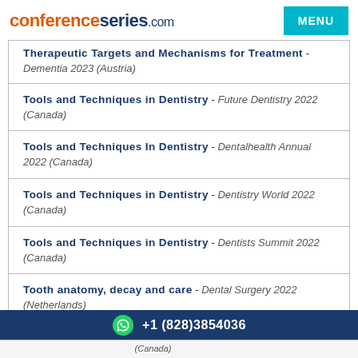conferenceseries.com MENU
Therapeutic Targets and Mechanisms for Treatment - Dementia 2023 (Austria)
Tools and Techniques in Dentistry - Future Dentistry 2022 (Canada)
Tools and Techniques In Dentistry - Dentalhealth Annual 2022 (Canada)
Tools and Techniques in Dentistry - Dentistry World 2022 (Canada)
Tools and Techniques in Dentistry - Dentists Summit 2022 (Canada)
Tooth anatomy, decay and care - Dental Surgery 2022 (Netherlands)
+1 (828)3854036